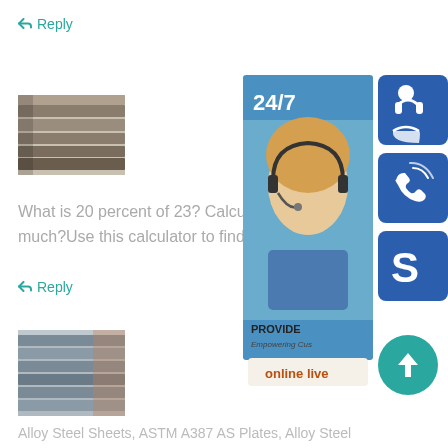Reply
[Figure (photo): Stack of steel plates/sheets, viewed from the side]
What is 20 percent of 23? Calculate 20% much?Use this calculator to find percenta
Reply
[Figure (photo): Stack of alloy steel sheets/plates stored in warehouse]
[Figure (infographic): Customer service sidebar with 24/7 text, female customer support agent with headset, icons for headset, phone, Skype, and online live chat button, plus scroll-to-top arrow button]
Alloy Steel Sheets, ASTM A387 AS Plates, Alloy Steel